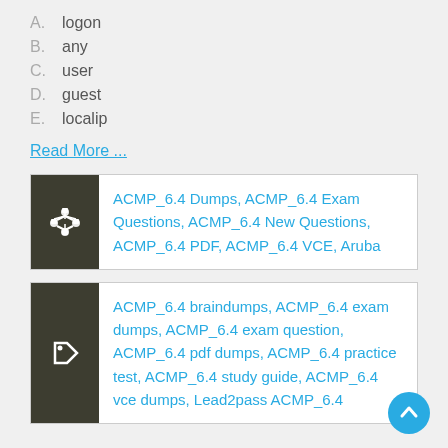A. logon
B. any
C. user
D. guest
E. localip
Read More ...
ACMP_6.4 Dumps, ACMP_6.4 Exam Questions, ACMP_6.4 New Questions, ACMP_6.4 PDF, ACMP_6.4 VCE, Aruba
ACMP_6.4 braindumps, ACMP_6.4 exam dumps, ACMP_6.4 exam question, ACMP_6.4 pdf dumps, ACMP_6.4 practice test, ACMP_6.4 study guide, ACMP_6.4 vce dumps, Lead2pass ACMP_6.4